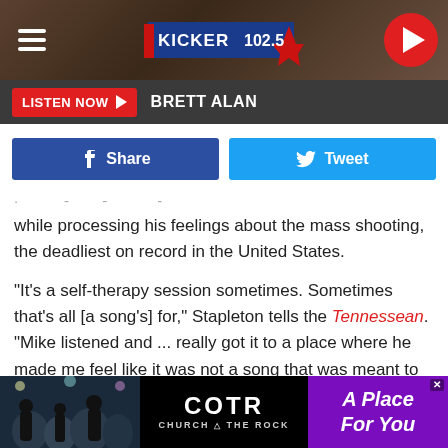[Figure (screenshot): Kicker 102.5 radio station mobile website header with hamburger menu, Kicker 102.5 logo, and red play button]
[Figure (screenshot): LISTEN NOW button with red background and play arrow, followed by BRETT ALAN text on dark grey bar]
[Figure (screenshot): Facebook Share button (blue) and Twitter Tweet button (light blue)]
while processing his feelings about the mass shooting, the deadliest on record in the United States.
"It's a self-therapy session sometimes. Sometimes that's all [a song's] for," Stapleton tells the Tennessean. "Mike listened and ... really got it to a place where he made me feel like it was not a song that was meant to be in my pocket."
"Watch You Burn" is the 12th of 14 songs on Stapleton's Starting Over, his fourth studio album, out Friday (Nov. 12)
[Figure (screenshot): COTR Church on the Rock advertisement banner with crowd photo, COTR logo, and A Place For You text on purple background]